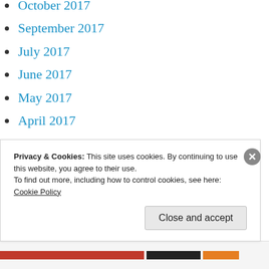October 2017
September 2017
July 2017
June 2017
May 2017
April 2017
March 2017
February 2017
January 2017
December 2016
November 2016
Privacy & Cookies: This site uses cookies. By continuing to use this website, you agree to their use.
To find out more, including how to control cookies, see here:
Cookie Policy
Close and accept